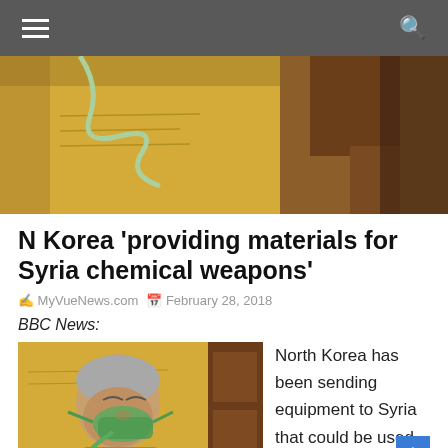Navigation bar with hamburger menu and search icon
[Figure (photo): Close-up photo of medical equipment including oxygen tubing against a yellow wall background with a person in a brown jacket]
N Korea ‘providing materials for Syria chemical weapons’
MyVueNews.com   February 28, 2018
BBC News:
[Figure (photo): Photo of a man with grey hair wearing an oxygen mask, with yellow wall in the background]
North Korea has been sending equipment to Syria that could be used